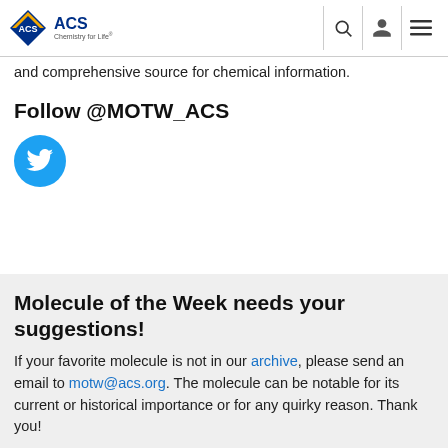ACS Chemistry for Life
and comprehensive source for chemical information.
Follow @MOTW_ACS
[Figure (logo): Twitter bird icon inside a blue circle button]
Molecule of the Week needs your suggestions!
If your favorite molecule is not in our archive, please send an email to motw@acs.org. The molecule can be notable for its current or historical importance or for any quirky reason. Thank you!